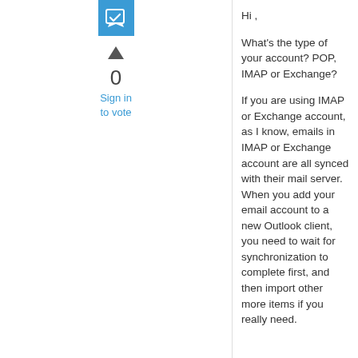[Figure (logo): Blue square icon with a white checkbox/answer symbol]
[Figure (other): Upward triangle/arrow vote button in gray]
0
Sign in to vote
Hi ,

What's the type of your account? POP, IMAP or Exchange?

If you are using IMAP or Exchange account, as I know, emails in IMAP or Exchange account are all synced with their mail server. When you add your email account to a new Outlook client, you need to wait for synchronization to complete first, and then import other more items if you really need.